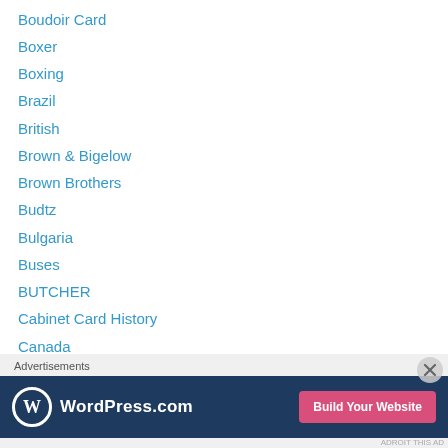Boudoir Card
Boxer
Boxing
Brazil
British
Brown & Bigelow
Brown Brothers
Budtz
Bulgaria
Buses
BUTCHER
Cabinet Card History
Canada
carte de visite
Cartes de Visite
Cats
[Figure (screenshot): WordPress.com advertisement banner with logo and 'Build Your Website' button]